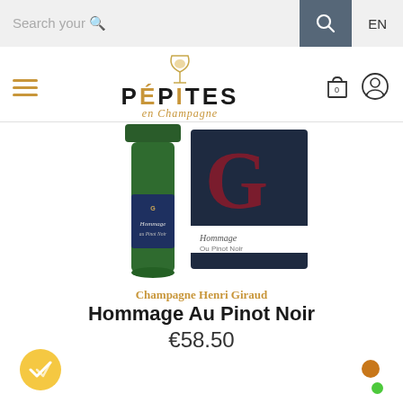Search your 🔍  EN
[Figure (logo): Pépites en Champagne logo with wine glass icon, hamburger menu, shopping bag with 0, and user icon]
[Figure (photo): Champagne Henri Giraud Hommage Au Pinot Noir bottle (green) next to its dark navy gift box with gold and red lettering on white background]
Champagne Henri Giraud
Hommage Au Pinot Noir
€58.50